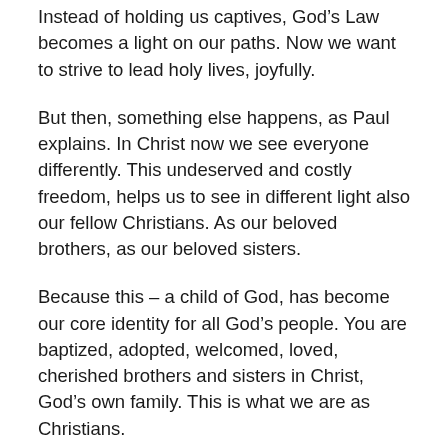Instead of holding us captives, God’s Law becomes a light on our paths. Now we want to strive to lead holy lives, joyfully.
But then, something else happens, as Paul explains. In Christ now we see everyone differently. This undeserved and costly freedom, helps us to see in different light also our fellow Christians. As our beloved brothers, as our beloved sisters.
Because this – a child of God, has become our core identity for all God’s people. You are baptized, adopted, welcomed, loved, cherished brothers and sisters in Christ, God’s own family. This is what we are as Christians.
And because we are all brothers and sisters in Christ, there are no more differences that would separate us in this world. In this community we don’t see any more one